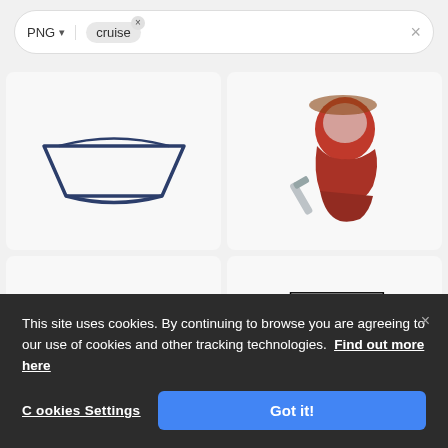[Figure (screenshot): Search bar with PNG format selector and 'cruise' tag with close button, and X clear button on right]
[Figure (illustration): Illustration of a simple boat/ship outline in dark navy blue on light grey background]
[Figure (illustration): Illustration of a cartoon red-bearded sailor/pirate with a hat and tool on light grey background]
[Figure (illustration): Illustration of a dark blue cartoon sailor/captain bust with hat on light grey background]
[Figure (illustration): Illustration of a black and white cruise ship line art on light grey background]
This site uses cookies. By continuing to browse you are agreeing to our use of cookies and other tracking technologies. Find out more here
Cookies Settings
Got it!